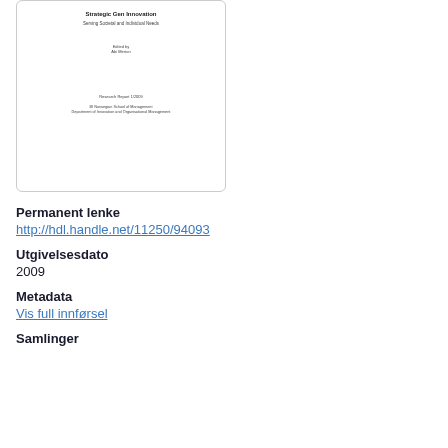[Figure (illustration): Thumbnail image of a book/report cover page showing title 'Strategic-Gen Innovation - Serving Societal and Individual Needs', edited by Abi Merton, Research Report 1/2009, BI Norwegian School of Management, Department of Innovation and Organisational Management]
Permanent lenke
http://hdl.handle.net/11250/94093
Utgivelsesdato
2009
Metadata
Vis full innførsel
Samlinger